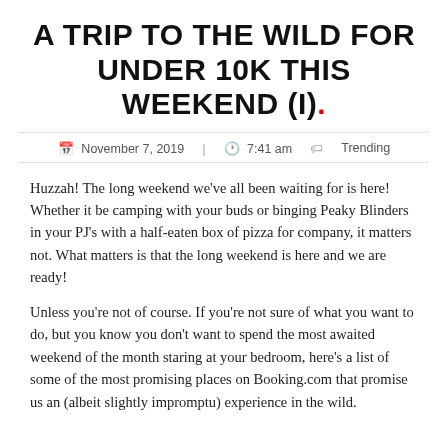A TRIP TO THE WILD FOR UNDER 10K THIS WEEKEND (I).
November 7, 2019   7:41 am   Trending
Huzzah! The long weekend we've all been waiting for is here! Whether it be camping with your buds or binging Peaky Blinders in your PJ's with a half-eaten box of pizza for company, it matters not. What matters is that the long weekend is here and we are ready!
Unless you're not of course. If you're not sure of what you want to do, but you know you don't want to spend the most awaited weekend of the month staring at your bedroom, here's a list of some of the most promising places on Booking.com that promise us an (albeit slightly impromptu) experience in the wild.